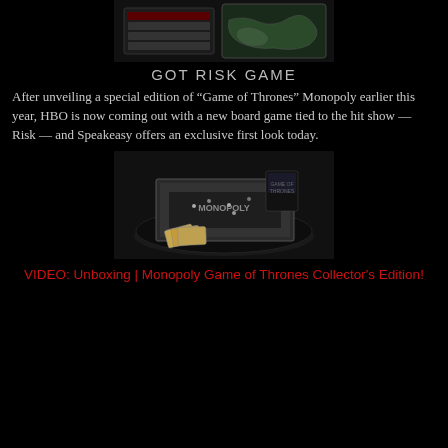[Figure (photo): Game of Thrones Risk board game components including game trays and map board on black background]
GOT RISK GAME
After unveiling a special edition of “Game of Thrones” Monopoly earlier this year, HBO is now coming out with a new board game tied to the hit show — Risk — and Speakeasy offers an exclusive first look today.
[Figure (photo): Game of Thrones Monopoly board game displayed on a round table with game pieces, cards, and packaging visible]
VIDEO: Unboxing | Monopoly Game of Thrones Collector's Edition!